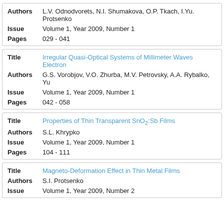| Authors | L.V. Odnodvorets, N.I. Shumakova, O.P. Tkach, I.Yu. Protsenko |
| Issue | Volume 1, Year 2009, Number 1 |
| Pages | 029 - 041 |
| Title | Irregular Quasi-Optical Systems of Millimeter Waves Electron |
| Authors | G.S. Vorobjov, V.O. Zhurba, M.V. Petrovsky, A.A. Rybalko, Yu |
| Issue | Volume 1, Year 2009, Number 1 |
| Pages | 042 - 058 |
| Title | Properties of Thin Transparent SnO2:Sb Films |
| Authors | S.L. Khrypko |
| Issue | Volume 1, Year 2009, Number 1 |
| Pages | 104 - 111 |
| Title | Magneto-Deformation Effect in Thin Metal Films |
| Authors | S.I. Protsenko |
| Issue | Volume 1, Year 2009, Number 2 |